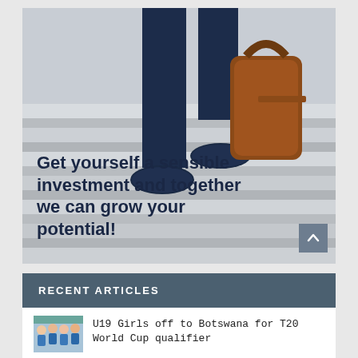[Figure (photo): Photo of a person in blue jeans and blue shoes carrying a brown leather bag, walking up stone stairs. Overlaid text reads: 'Get yourself a sensible investment and together we can grow your potential!']
RECENT ARTICLES
U19 Girls off to Botswana for T20 World Cup qualifier